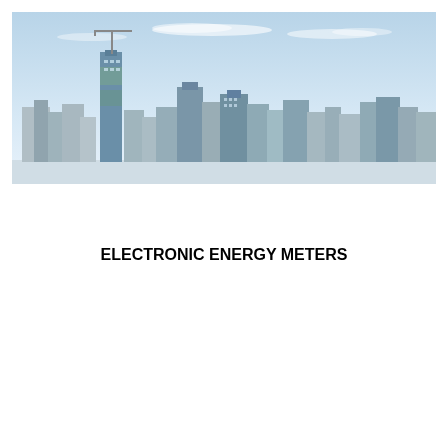[Figure (photo): City skyline photograph showing multiple high-rise buildings and skyscrapers against a light blue sky with thin clouds. Buildings vary in height and architectural style.]
ELECTRONIC ENERGY METERS